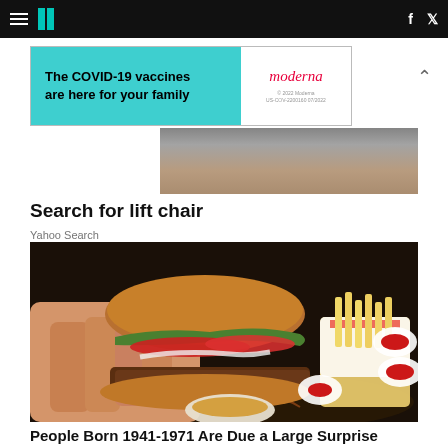HuffPost navigation bar with hamburger menu, logo, Facebook and Twitter icons
[Figure (illustration): Advertisement banner: teal left panel with bold text 'The COVID-19 vaccines are here for your family', white right panel with Moderna logo in red, fine print '© 2022 Moderna US-COV-2200160 07/2022']
[Figure (photo): Partial background image showing a wooden surface or tray, dark tones at top]
Search for lift chair
Yahoo Search
[Figure (photo): A hand holding a large burger with tomatoes, lettuce, meat patty and sauce, over a fast-food tray with french fries spilling from a paper cone and multiple small cups of ketchup/dipping sauce]
People Born 1941-1971 Are Due a Large Surprise